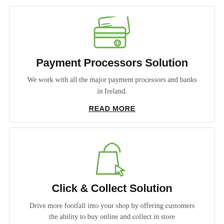[Figure (illustration): Green line-art icon of two credit cards stacked, with chip and contactless symbol]
Payment Processors Solution
We work with all the major payment processors and banks in Ireland.
READ MORE
[Figure (illustration): Green line-art icon of a shopping bag with a cursor/arrow pointer]
Click & Collect Solution
Drive more footfall into your shop by offering customers the ability to buy online and collect in store